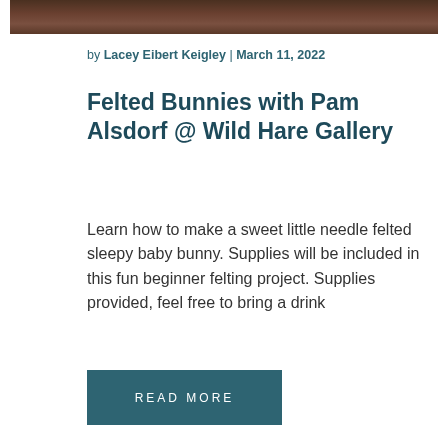[Figure (photo): Cropped photo strip at the top of the page showing dark earthy tones, appears to be a person's hands or natural materials]
by Lacey Eibert Keigley | March 11, 2022
Felted Bunnies with Pam Alsdorf @ Wild Hare Gallery
Learn how to make a sweet little needle felted sleepy baby bunny. Supplies will be included in this fun beginner felting project. Supplies provided, feel free to bring a drink
READ MORE